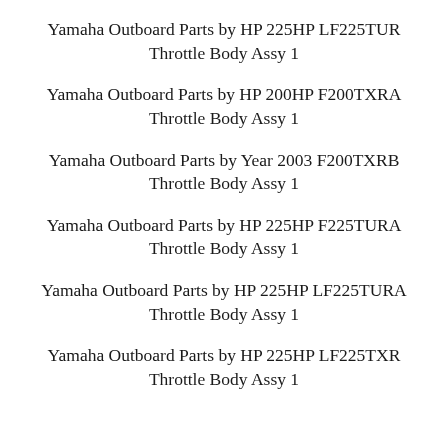Yamaha Outboard Parts by HP 225HP LF225TUR Throttle Body Assy 1
Yamaha Outboard Parts by HP 200HP F200TXRA Throttle Body Assy 1
Yamaha Outboard Parts by Year 2003 F200TXRB Throttle Body Assy 1
Yamaha Outboard Parts by HP 225HP F225TURA Throttle Body Assy 1
Yamaha Outboard Parts by HP 225HP LF225TURA Throttle Body Assy 1
Yamaha Outboard Parts by HP 225HP LF225TXR Throttle Body Assy 1